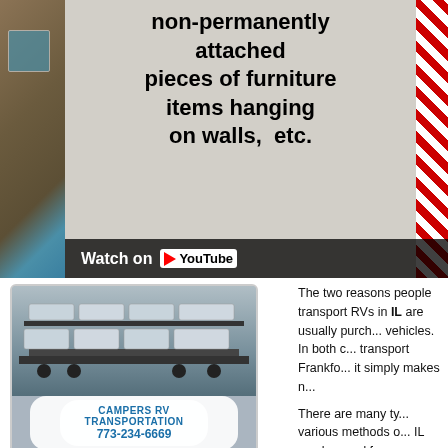[Figure (screenshot): Video screenshot showing RVs/furniture on transport, with 'non-permanently attached pieces of furniture items hanging on walls, etc.' text overlay and YouTube 'Watch on YouTube' button]
[Figure (photo): Photo of campers/RVs being transported on a car carrier, with overlay label 'Campers RV Transportation 773-234-6669' and bottom text 'IllinoisTowingServices.com']
The two reasons people transport RVs in IL are usually purchasing or selling these vehicles. In both cases, you want to transport Frankfort IL RV for cheap and it simply makes no ...
There are many types of RVs, and various methods of RV transport in Frankfort IL can be used for them.
Types or recreational vehicles, the various forms of Frankfort IL RV transport:
"Class A" RV
driveaway / tow / RGN trailer
Those are pretty much homes on wheels, similar but not the same as converted